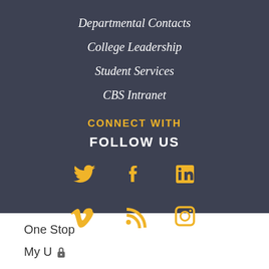Departmental Contacts
College Leadership
Student Services
CBS Intranet
CONNECT WITH
FOLLOW US
[Figure (infographic): Social media icons row 1: Twitter, Facebook, LinkedIn in gold/yellow color]
[Figure (infographic): Social media icons row 2: Vimeo, RSS, Instagram in gold/yellow color]
One Stop
My U 🔒